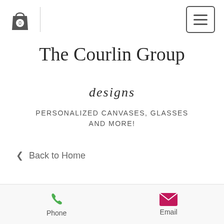[Figure (screenshot): Website header with shopping bag icon (showing 0), vertical divider, and hamburger menu button on the right]
The Courlin Group
designs
PERSONALIZED CANVASES, GLASSES AND MORE!
< Back to Home
[Figure (photo): Glass jars with lids, partially visible at the bottom of the page]
Phone   Email